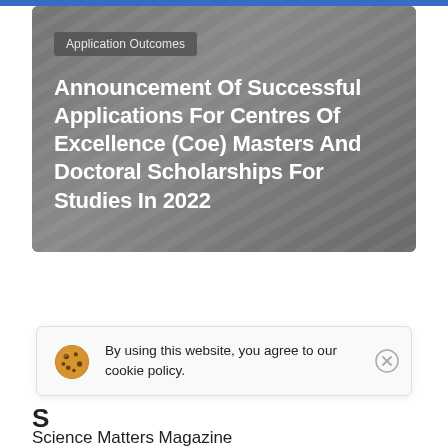Categories
[Figure (photo): Gray background photo of pencils with a card overlay showing 'Application Outcomes' tag and white bold headline text about scholarship announcement]
Announcement Of Successful Applications For Centres Of Excellence (Coe) Masters And Doctoral Scholarships For Studies In 2022
By using this website, you agree to our cookie policy.
S
Science Matters Magazine